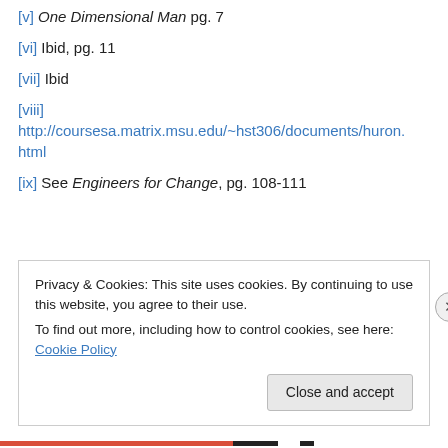[v] One Dimensional Man pg. 7
[vi] Ibid, pg. 11
[vii] Ibid
[viii] http://coursesa.matrix.msu.edu/~hst306/documents/huron.html
[ix] See Engineers for Change, pg. 108-111
Privacy & Cookies: This site uses cookies. By continuing to use this website, you agree to their use. To find out more, including how to control cookies, see here: Cookie Policy